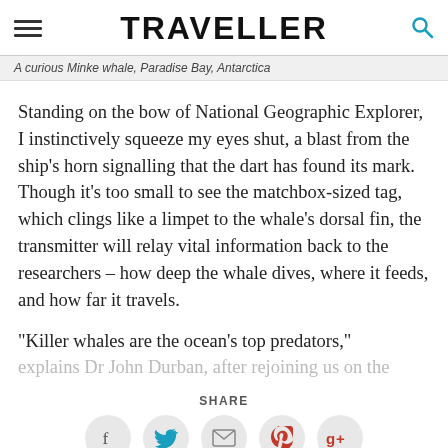TRAVELLER
A curious Minke whale, Paradise Bay, Antarctica
Standing on the bow of National Geographic Explorer, I instinctively squeeze my eyes shut, a blast from the ship's horn signalling that the dart has found its mark. Though it's too small to see the matchbox-sized tag, which clings like a limpet to the whale's dorsal fin, the transmitter will relay vital information back to the researchers – how deep the whale dives, where it feeds, and how far it travels.
"Killer whales are the ocean's top predators," explains Dr John Durban, after rejoining us on the
SHARE
[Figure (infographic): Social share buttons: Facebook, Twitter, Email, Pinterest, Google+]